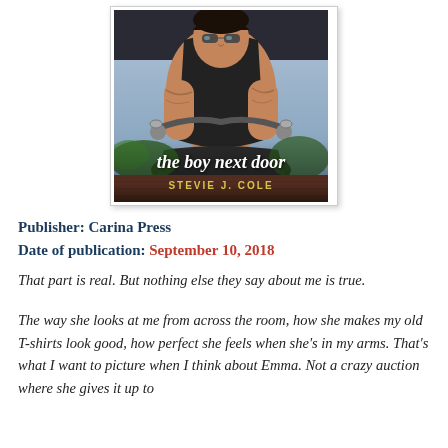[Figure (illustration): Book cover of 'The Boy Next Door' by Stevie J. Cole. Shows a tattooed muscular man in sunglasses and a black tank top leaning over a motorcycle. Title in white script at bottom; author name in yellow text below title.]
Publisher: Carina Press
Date of publication: September 10, 2018
That part is real. But nothing else they say about me is true.
The way she looks at me from across the room, how she makes my old T-shirts look good, how perfect she feels when she's in my arms. That's what I want to picture when I think about Emma. Not a crazy auction where she gives it up to